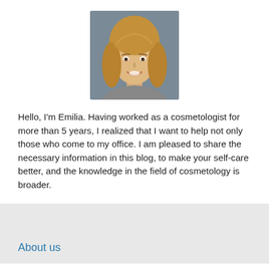[Figure (photo): Headshot of a young woman with wavy light brown hair, smiling, against a grey background.]
Hello, I'm Emilia. Having worked as a cosmetologist for more than 5 years, I realized that I want to help not only those who come to my office. I am pleased to share the necessary information in this blog, to make your self-care better, and the knowledge in the field of cosmetology is broader.
About us